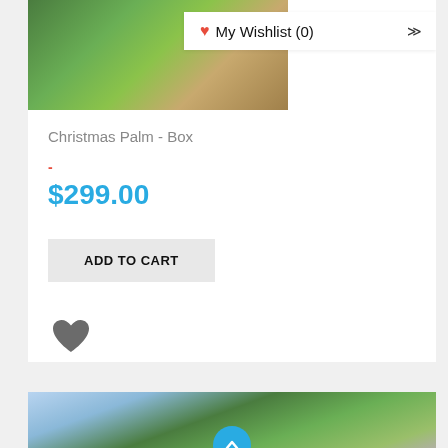[Figure (photo): Partial photo of outdoor green foliage/plants at top of product card]
♥ My Wishlist (0)
Christmas Palm - Box
-
$299.00
ADD TO CART
[Figure (illustration): Dark gray heart icon (wishlist/favorite button)]
[Figure (photo): Partial photo of palm fronds with blue/purple tones at bottom, with a cyan circular scroll-up button]